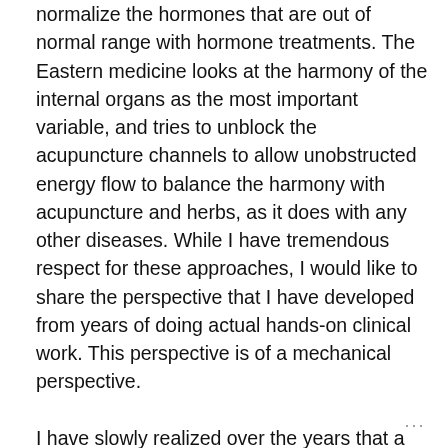normalize the hormones that are out of normal range with hormone treatments. The Eastern medicine looks at the harmony of the internal organs as the most important variable, and tries to unblock the acupuncture channels to allow unobstructed energy flow to balance the harmony with acupuncture and herbs, as it does with any other diseases. While I have tremendous respect for these approaches, I would like to share the perspective that I have developed from years of doing actual hands-on clinical work. This perspective is of a mechanical perspective.

I have slowly realized over the years that a body part, any body part, becomes pathological when it loses the freedom of movement. It matters little whether the body part is an internal organ, a muscle, a bone, or even any of
···